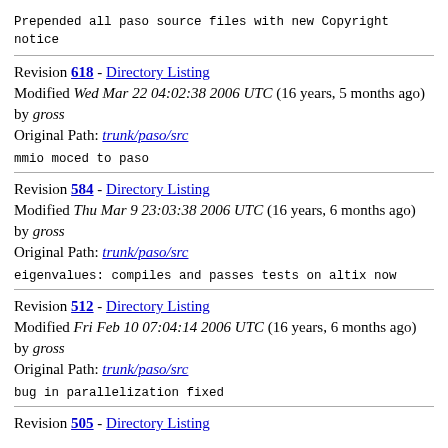Prepended all paso source files with new Copyright notice
Revision 618 - Directory Listing
Modified Wed Mar 22 04:02:38 2006 UTC (16 years, 5 months ago) by gross
Original Path: trunk/paso/src
mmio moced to paso
Revision 584 - Directory Listing
Modified Thu Mar 9 23:03:38 2006 UTC (16 years, 6 months ago) by gross
Original Path: trunk/paso/src
eigenvalues: compiles and passes tests on altix now
Revision 512 - Directory Listing
Modified Fri Feb 10 07:04:14 2006 UTC (16 years, 6 months ago) by gross
Original Path: trunk/paso/src
bug in parallelization fixed
Revision 505 - Directory Listing